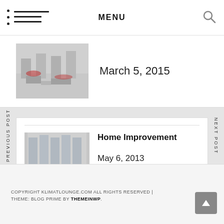MENU
March 5, 2015
Home Improvement
May 6, 2013
PREVIOUS POST
NEXT POST
COPYRIGHT KLIMATLOUNGE.COM ALL RIGHTS RESERVED | THEME: BLOG PRIME BY THEMEINWP.